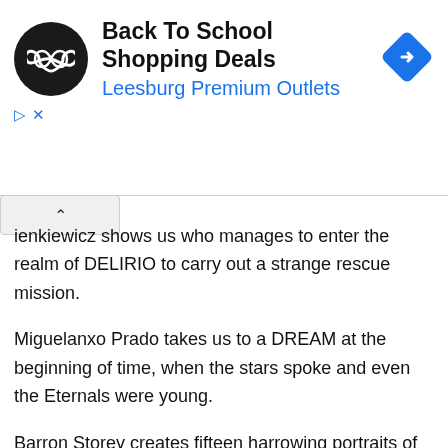[Figure (advertisement): Ad banner: black circular logo with infinity-like symbol, title 'Back To School Shopping Deals', subtitle 'Leesburg Premium Outlets' in blue, blue diamond arrow icon on right]
ienkiewicz shows us who manages to enter the realm of DELIRIO to carry out a strange rescue mission.
Miguelanxo Prado takes us to a DREAM at the beginning of time, when the stars spoke and even the Eternals were young.
Barron Storey creates fifteen harrowing portraits of DESPERATION.
Glenn Fabry draws a story of archaeologists discovering the future and learning a little more about DESTRUCTION.